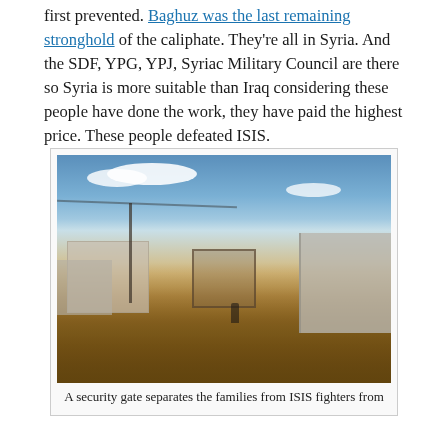first prevented. Baghuz was the last remaining stronghold of the caliphate. They're all in Syria. And the SDF, YPG, YPJ, Syriac Military Council are there so Syria is more suitable than Iraq considering these people have done the work, they have paid the highest price. These people defeated ISIS.
[Figure (photo): A photograph of a refugee/detention camp in Syria showing a dirt ground area, tents and temporary structures on the left, a concrete block building on the right, a security gate in the middle distance, and a blue sky with scattered clouds above.]
A security gate separates the families from ISIS fighters from